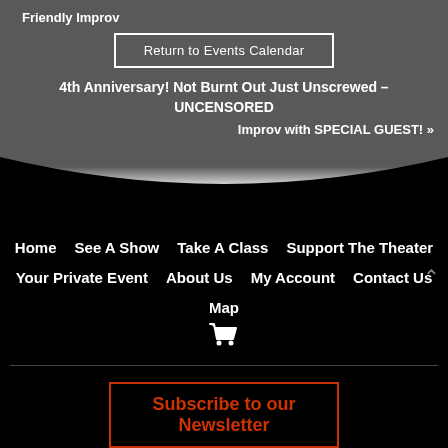Friendly Improv
Return to Events Calendar
4th Anniversary! Not Burnt Out Just Unscrewed – UNCENSORED
Improv with SPECIAL GUEST! »
Home
See A Show
Take A Class
Support The Theater
Your Private Event
About Us
My Account
Contact Us
Map
Subscribe to our Newsletter